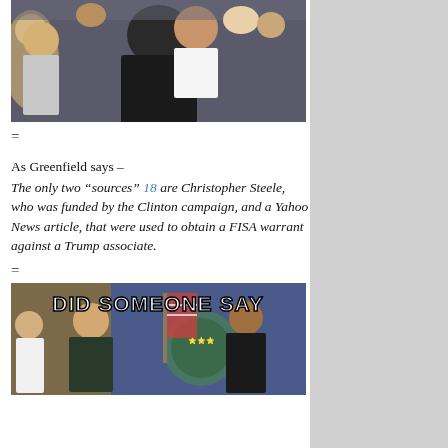[Figure (photo): A photo showing people embracing at what appears to be a public event, with a crowd in the background.]
=
As Greenfield says –
The only two “sources” 18 are Christopher Steele, who was funded by the Clinton campaign, and a Yahoo News article, that were used to obtain a FISA warrant against a Trump associate.
=
[Figure (photo): A meme photo showing two men in a formal setting with text overlay reading 'DID SOMEONE SAY']